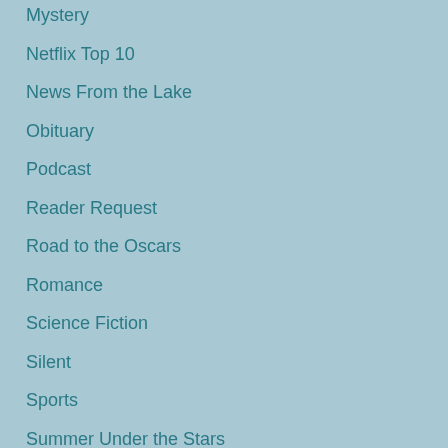Mystery
Netflix Top 10
News From the Lake
Obituary
Podcast
Reader Request
Road to the Oscars
Romance
Science Fiction
Silent
Sports
Summer Under the Stars
TCM Classic Film Festival
TCM Top Twelve
television
The July Five